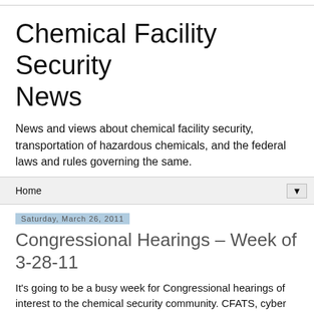Chemical Facility Security News
News and views about chemical facility security, transportation of hazardous chemicals, and the federal laws and rules governing the same.
Home ▼
Saturday, March 26, 2011
Congressional Hearings – Week of 3-28-11
It's going to be a busy week for Congressional hearings of interest to the chemical security community. CFATS, cyber